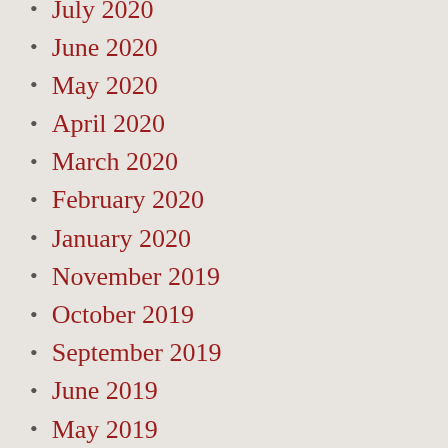July 2020
June 2020
May 2020
April 2020
March 2020
February 2020
January 2020
November 2019
October 2019
September 2019
June 2019
May 2019
April 2019
March 2019
February 2019
January 2019
December 2018